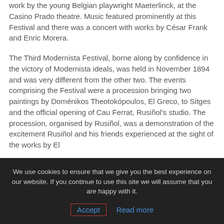work by the young Belgian playwright Maeterlinck, at the Casino Prado theatre. Music featured prominently at this Festival and there was a concert with works by César Frank and Enric Morera.
The Third Modernista Festival, borne along by confidence in the victory of Modernista ideals, was held in November 1894 and was very different from the other two. The events comprising the Festival were a procession bringing two paintings by Doménikos Theotokópoulos, El Greco, to Sitges and the official opening of Cau Ferrat, Rusiñol's studio. The procession, organised by Rusiñol, was a demonstration of the excitement Rusiñol and his friends experienced at the sight of the works by El
We use cookies to ensure that we give you the best experience on our website. If you continue to use this site we will assume that you are happy with it.
Accept   Read more